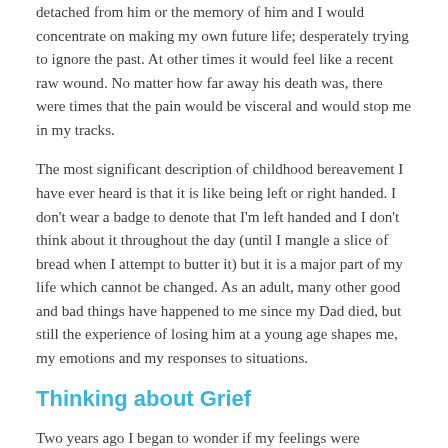detached from him or the memory of him and I would concentrate on making my own future life; desperately trying to ignore the past. At other times it would feel like a recent raw wound. No matter how far away his death was, there were times that the pain would be visceral and would stop me in my tracks.
The most significant description of childhood bereavement I have ever heard is that it is like being left or right handed. I don't wear a badge to denote that I'm left handed and I don't think about it throughout the day (until I mangle a slice of bread when I attempt to butter it) but it is a major part of my life which cannot be changed. As an adult, many other good and bad things have happened to me since my Dad died, but still the experience of losing him at a young age shapes me, my emotions and my responses to situations.
Thinking about Grief
Two years ago I began to wonder if my feelings were understandable. I began to look for other people who shared them and came across a podcast called the Griefcast (I'd recommend a listen although it isn't faithfully). The word combination of listening